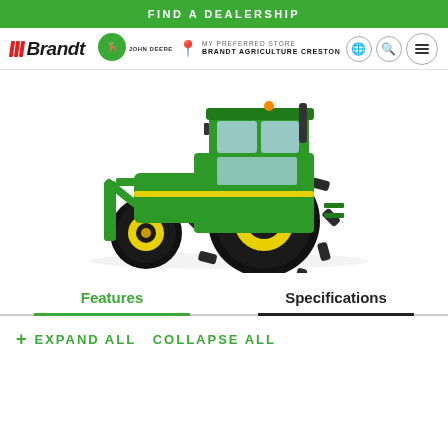FIND A DEALERSHIP
[Figure (logo): Brandt and John Deere logos with navigation bar including MY PREFERRED STORE / BRANDT AGRICULTURE CRESTON, globe icon, search icon, and menu icon]
[Figure (photo): John Deere green and yellow tractor on white background]
Features | Specifications
+ EXPAND ALL COLLAPSE ALL